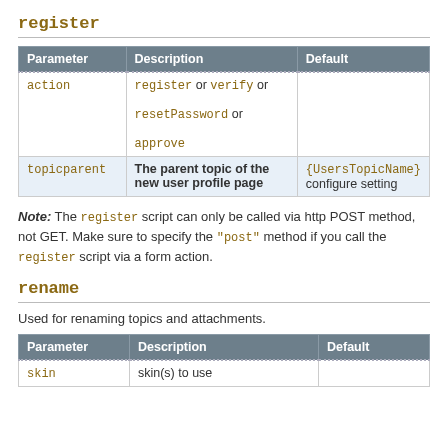register
| Parameter | Description | Default |
| --- | --- | --- |
| action | register or verify or resetPassword or approve |  |
| topicparent | The parent topic of the new user profile page | {UsersTopicName} configure setting |
Note: The register script can only be called via http POST method, not GET. Make sure to specify the "post" method if you call the register script via a form action.
rename
Used for renaming topics and attachments.
| Parameter | Description | Default |
| --- | --- | --- |
| skin | skin(s) to use |  |